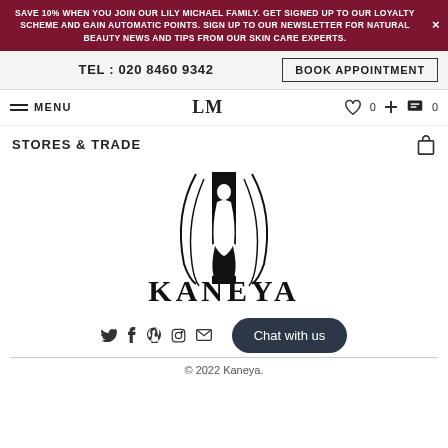SAVE 10% WHEN YOU JOIN OUR LILY MICHAEL FAMILY. GET SIGNED UP TO OUR LOYALTY SCHEME AND GAIN AUTOMATIC POINTS. SIGN UP TO OUR NEWSLETTER FOR NATURAL BEAUTY NEWS AND TIPS FROM OUR SKIN CARE EXPERTS.
TEL: 020 8460 9342
BOOK APPOINTMENT
MENU
LM
0
0
STORES & TRADE
[Figure (logo): Kaneya brand logo with stylized figure silhouette and KANEYA text in serif font]
Chat with us
© 2022 Kaneya.